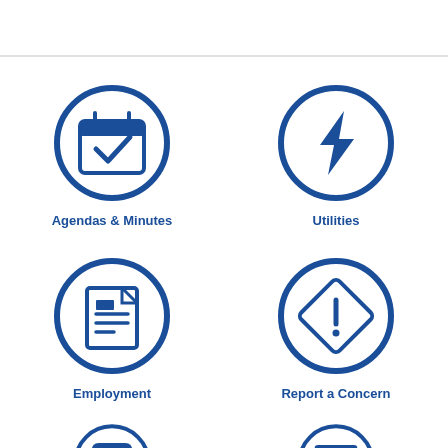[Figure (infographic): Agendas & Minutes icon: calendar with checkmark inside a blue circle]
Agendas & Minutes
[Figure (infographic): Utilities icon: lightning bolt inside a blue circle]
Utilities
[Figure (infographic): Employment icon: document/file with text lines inside a blue circle]
Employment
[Figure (infographic): Report a Concern icon: diamond warning/caution sign with exclamation mark inside a blue circle]
Report a Concern
[Figure (infographic): Partially visible icon at bottom left: speech bubble / chat icon inside a blue circle]
[Figure (infographic): Partially visible icon at bottom right: document/form icon inside a blue circle]